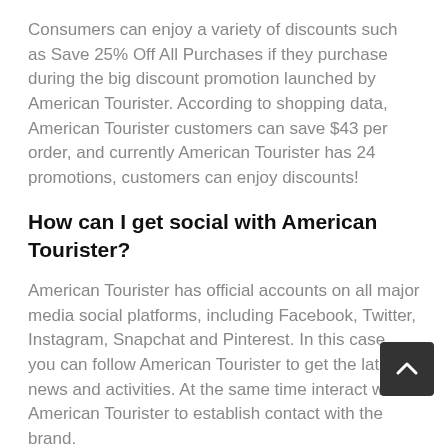Consumers can enjoy a variety of discounts such as Save 25% Off All Purchases if they purchase during the big discount promotion launched by American Tourister. According to shopping data, American Tourister customers can save $43 per order, and currently American Tourister has 24 promotions, customers can enjoy discounts!
How can I get social with American Tourister?
American Tourister has official accounts on all major media social platforms, including Facebook, Twitter, Instagram, Snapchat and Pinterest. In this case, you can follow American Tourister to get the latest news and activities. At the same time interact with American Tourister to establish contact with the brand.